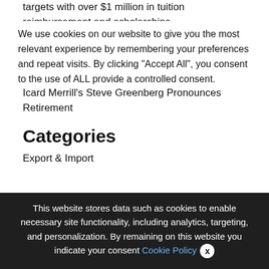targets with over $1 million in tuition reimbursement and scholarships
Marshall Dennehey Tampa Shareholder Michael J. Bradford Named Co-Chair of Maritime Litigation Apply Group
Icard Merrill's Steve Greenberg Pronounces Retirement
Categories
Export & Import
We use cookies on our website to give you the most relevant experience by remembering your preferences and repeat visits. By clicking "Accept All", you consent to the use of ALL provide a controlled consent.
This website stores data such as cookies to enable necessary site functionality, including analytics, targeting, and personalization. By remaining on this website you indicate your consent Cookie Policy